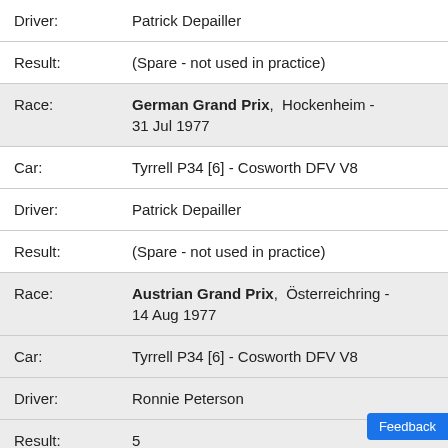| Driver: | Patrick Depailler |
| Result: | (Spare - not used in practice) |
| Race: | German Grand Prix,  Hockenheim - 31 Jul 1977 |
| Car: | Tyrrell P34 [6] - Cosworth DFV V8 |
| Driver: | Patrick Depailler |
| Result: | (Spare - not used in practice) |
| Race: | Austrian Grand Prix,  Österreichring - 14 Aug 1977 |
| Car: | Tyrrell P34 [6] - Cosworth DFV V8 |
| Driver: | Ronnie Peterson |
| Result: | 5 |
| Race: | Dutch Grand Prix,  Zandvoort |